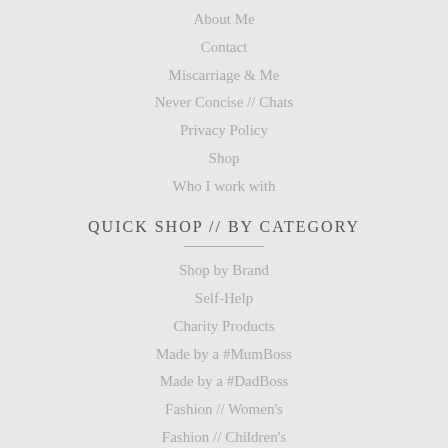About Me
Contact
Miscarriage & Me
Never Concise // Chats
Privacy Policy
Shop
Who I work with
QUICK SHOP // BY CATEGORY
Shop by Brand
Self-Help
Charity Products
Made by a #MumBoss
Made by a #DadBoss
Fashion // Women's
Fashion // Children's
Bags